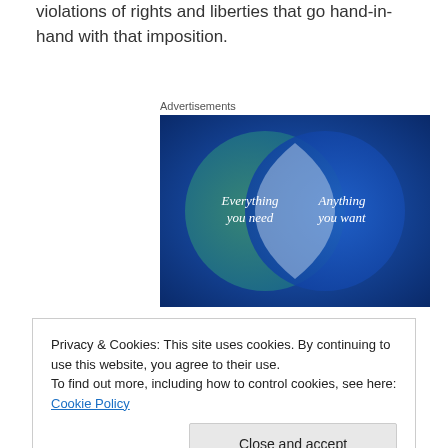violations of rights and liberties that go hand-in-hand with that imposition.
Advertisements
[Figure (infographic): Venn diagram with two overlapping circles on a blue-green background. Left circle labeled 'Everything you need', right circle labeled 'Anything you want', overlapping region is lighter blue.]
Privacy & Cookies: This site uses cookies. By continuing to use this website, you agree to their use.
To find out more, including how to control cookies, see here: Cookie Policy
government?